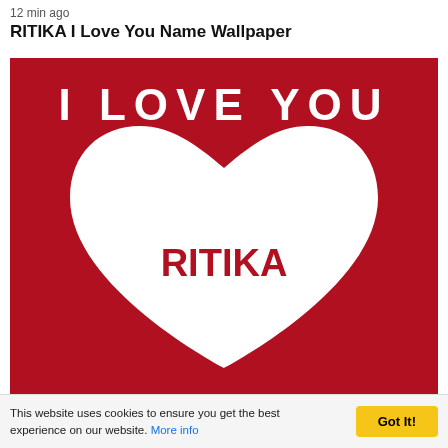12 min ago
RITIKA I Love You Name Wallpaper
[Figure (illustration): A dark red/crimson square wallpaper image with 'I LOVE YOU' written in bold white uppercase letters at the top, and a large white heart shape in the center containing the name 'RITIKA' in bold dark red text.]
This website uses cookies to ensure you get the best experience on our website. More info